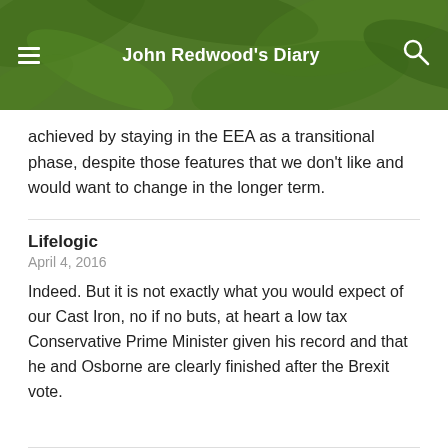John Redwood's Diary
achieved by staying in the EEA as a transitional phase, despite those features that we don’t like and would want to change in the longer term.
Lifelogic
April 4, 2016
Indeed. But it is not exactly what you would expect of our Cast Iron, no if no buts, at heart a low tax Conservative Prime Minister given his record and that he and Osborne are clearly finished after the Brexit vote.